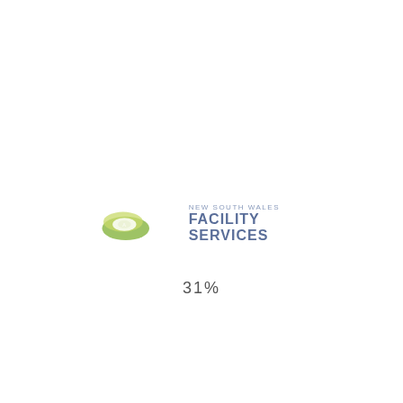[Figure (logo): New South Wales Facility Services logo with green circular disc icon and blue-grey text reading NEW SOUTH WALES FACILITY SERVICES]
31%